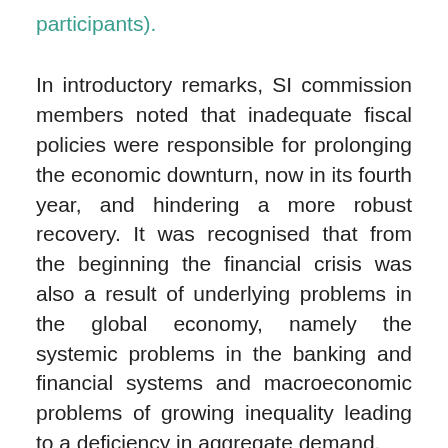participants).
In introductory remarks, SI commission members noted that inadequate fiscal policies were responsible for prolonging the economic downturn, now in its fourth year, and hindering a more robust recovery. It was recognised that from the beginning the financial crisis was also a result of underlying problems in the global economy, namely the systemic problems in the banking and financial systems and macroeconomic problems of growing inequality leading to a deficiency in aggregate demand.
An important observation with regard to the current phase of the financial crisis is that today